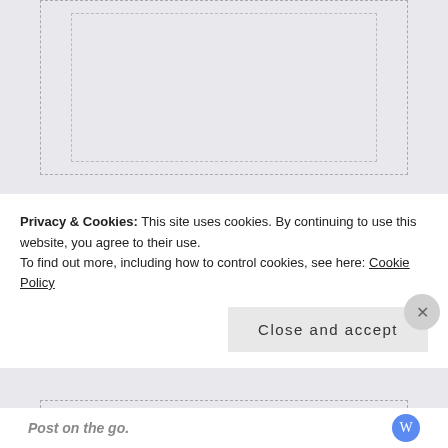[Figure (screenshot): Partially visible top card with dashed border]
Warren Richards
January 27, 2020 · 10:09 pm
Thankful for everything indeed! Don't sweat the small stuff and keep at it because in t...
Privacy & Cookies: This site uses cookies. By continuing to use this website, you agree to their use.
To find out more, including how to control cookies, see here: Cookie Policy
Close and accept
Post on the go.